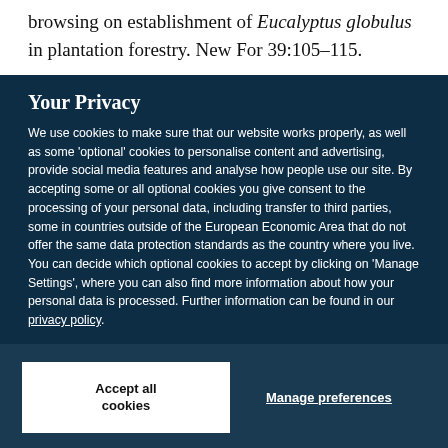browsing on establishment of Eucalyptus globulus in plantation forestry. New For 39:105–115.
Your Privacy
We use cookies to make sure that our website works properly, as well as some 'optional' cookies to personalise content and advertising, provide social media features and analyse how people use our site. By accepting some or all optional cookies you give consent to the processing of your personal data, including transfer to third parties, some in countries outside of the European Economic Area that do not offer the same data protection standards as the country where you live. You can decide which optional cookies to accept by clicking on 'Manage Settings', where you can also find more information about how your personal data is processed. Further information can be found in our privacy policy.
Accept all cookies
Manage preferences